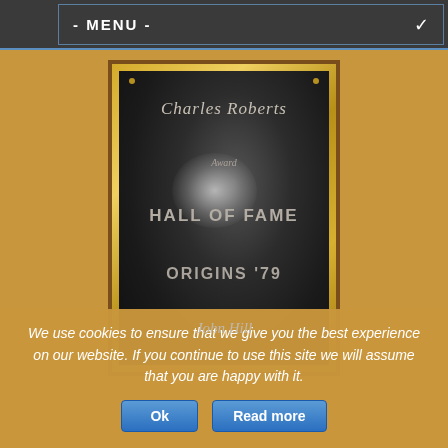- MENU -
[Figure (photo): A black plaque mounted on a wooden board with a brass border, engraved with cursive text 'Charles Roberts' at the top, 'Award' in italics, 'HALL OF FAME' in large block letters, 'ORIGINS '79' below, and 'John Hill' in cursive at the bottom. The plaque has a bright light reflection in the center.]
We use cookies to ensure that we give you the best experience on our website. If you continue to use this site we will assume that you are happy with it.
Ok
Read more